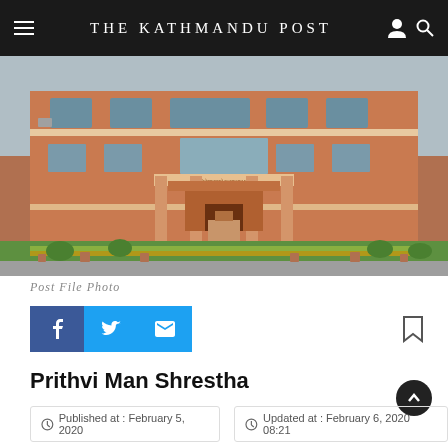THE KATHMANDU POST
[Figure (photo): Exterior of a red-brick government or institutional building with multiple floors, columns at the entrance, a small shrine or monument in front, and garden landscaping.]
Post File Photo
Prithvi Man Shrestha
Published at : February 5, 2020
Updated at : February 6, 2020 08:21